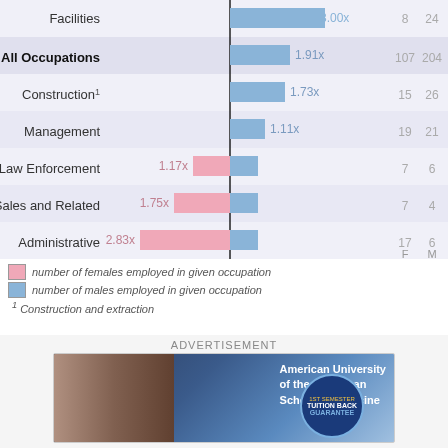[Figure (bar-chart): Occupation gender ratio chart (partial)]
F  number of females employed in given occupation
M  number of males employed in given occupation
1 Construction and extraction
[Figure (photo): Advertisement for American University of the Caribbean School of Medicine with woman in white coat and '1st Semester Tuition Back Guarantee' badge]